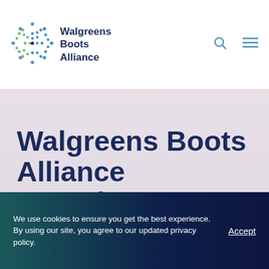[Figure (logo): Walgreens Boots Alliance globe logo with colorful dot pattern and company name text]
Walgreens Boots Alliance Completes Strategic Transaction with AmerisourceBergen Divesting Alliance
We use cookies to ensure you get the best experience. By using our site, you agree to our updated privacy policy.
Accept